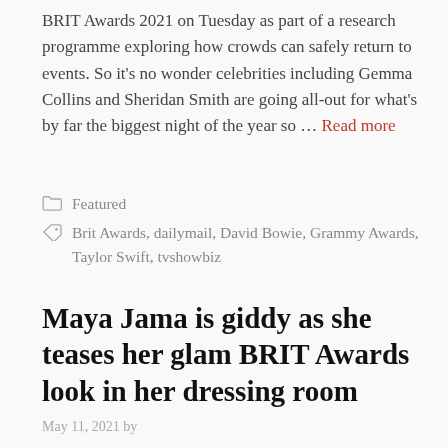BRIT Awards 2021 on Tuesday as part of a research programme exploring how crowds can safely return to events. So it's no wonder celebrities including Gemma Collins and Sheridan Smith are going all-out for what's by far the biggest night of the year so … Read more
Featured
Brit Awards, dailymail, David Bowie, Grammy Awards, Taylor Swift, tvshowbiz
Maya Jama is giddy as she teases her glam BRIT Awards look in her dressing room
May 11, 2021 by